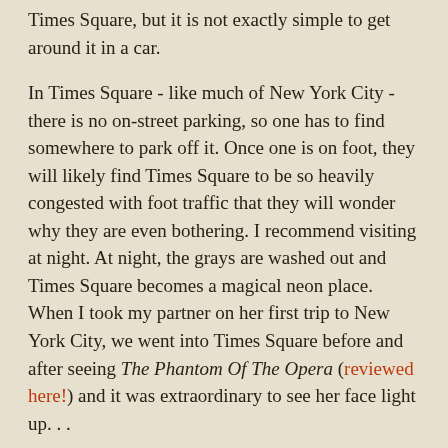Times Square, but it is not exactly simple to get around it in a car.
In Times Square - like much of New York City - there is no on-street parking, so one has to find somewhere to park off it. Once one is on foot, they will likely find Times Square to be so heavily congested with foot traffic that they will wonder why they are even bothering. I recommend visiting at night. At night, the grays are washed out and Times Square becomes a magical neon place. When I took my partner on her first trip to New York City, we went into Times Square before and after seeing The Phantom Of The Opera (reviewed here!) and it was extraordinary to see her face light up. . .
Activity/Purpose
. . . but at the end of all consideration, why was her face lighting up so? Well, she is from the backwoods in Michigan and the tall buildings and bright lights and sheer amount of traffic are visually overwhelming to anyone who grew up in a town where there were only about five traffic lights. Truly,